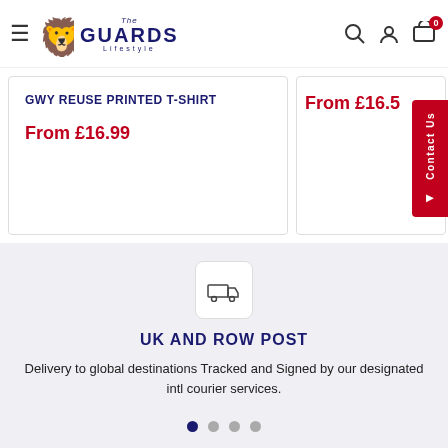The Guards Lifestyle - navigation header with logo, search, account, cart
GWY REUSE PRINTED T-SHIRT
From £16.99
From £16.5
[Figure (screenshot): Contact Us red tab on right side]
[Figure (illustration): Delivery truck icon in white rounded box]
UK AND ROW POST
Delivery to global destinations Tracked and Signed by our designated intl courier services.